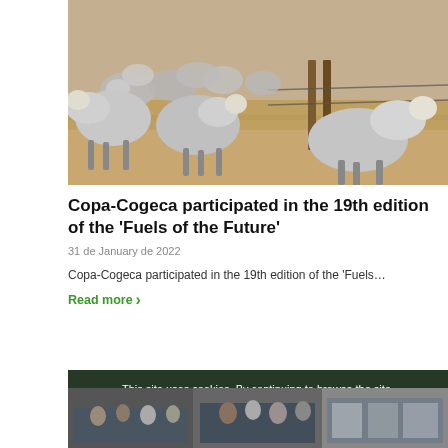[Figure (photo): A herd of sheep/goats in a dry, sandy field with wooden fence posts visible.]
Copa-Cogeca participated in the 19th edition of the ‘Fuels of the Future’
31 de January de 2022
Copa-Cogeca participated in the 19th edition of the ‘Fuels…
Read more ›
This site uses cookies. By continuing to browse the site, you are agreeing to our use of cookies.
Accept settings
Settings
[Figure (photo): A strip of photos showing crowds and exhibition scenes at the bottom of the page.]